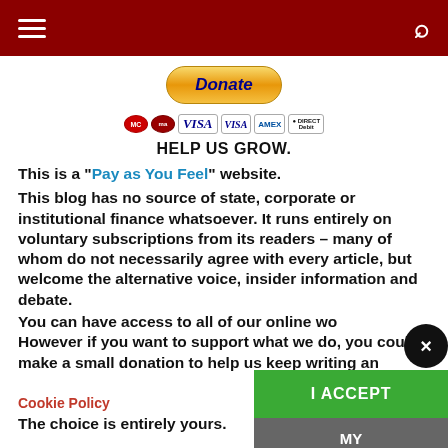navigation header with hamburger menu and search icon
[Figure (other): Donate button with PayPal styling and payment method icons (Mastercard, Maestro, Visa, Visa Electron, Amex, Direct Debit)]
HELP US GROW.
This is a "Pay as You Feel" website. This blog has no source of state, corporate or institutional finance whatsoever. It runs entirely on voluntary subscriptions from its readers – many of whom do not necessarily agree with every article, but welcome the alternative voice, insider information and debate. You can have access to all of our online wo... However if you want to support what we do, you could make a small donation to help us keep writing an... The choice is entirely yours.
[Figure (other): Cookie consent overlay with close button (x), I ACCEPT green button, and MY PREFERENCES grey button]
Cookie Policy